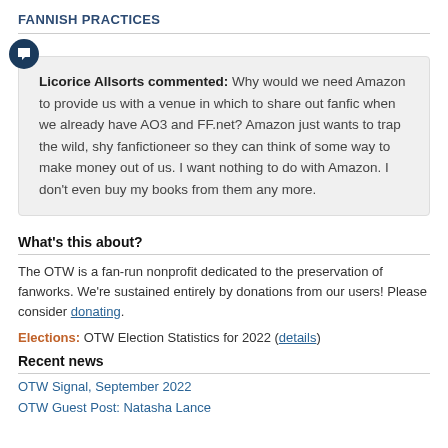FANNISH PRACTICES
Licorice Allsorts commented: Why would we need Amazon to provide us with a venue in which to share out fanfic when we already have AO3 and FF.net? Amazon just wants to trap the wild, shy fanfictioneer so they can think of some way to make money out of us. I want nothing to do with Amazon. I don't even buy my books from them any more.
What's this about?
The OTW is a fan-run nonprofit dedicated to the preservation of fanworks. We're sustained entirely by donations from our users! Please consider donating.
Elections: OTW Election Statistics for 2022 (details)
Recent news
OTW Signal, September 2022
OTW Guest Post: Natasha Lance